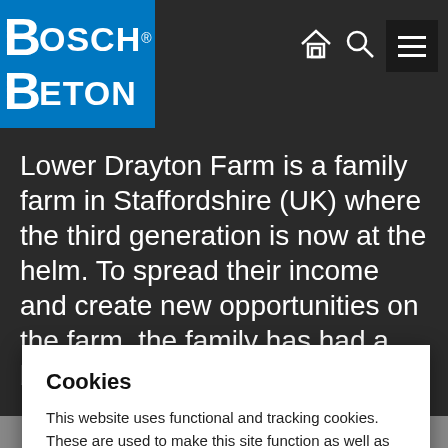[Figure (logo): Bosch Beton logo — white text on blue square background]
Lower Drayton Farm is a family farm in Staffordshire (UK) where the third generation is now at the helm. To spread their income and create new opportunities on the farm, the family has had a biogas ...ainable ...mps, ...an
Cookies
This website uses functional and tracking cookies. These are used to make this site function as well as possible and to analyze data in order to improve your user experience.
Cookie settings   Accept